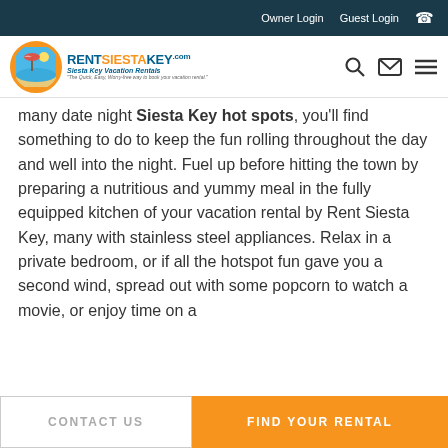Owner Login   Guest Login   📞
[Figure (logo): Rent Siesta Key logo - orange circle with umbrella and beach scene, blue text reading RENT SIESTA KEY .com, subtitle Siesta Key Vacation Rentals]
many date night Siesta Key hot spots, you'll find something to do to keep the fun rolling throughout the day and well into the night. Fuel up before hitting the town by preparing a nutritious and yummy meal in the fully equipped kitchen of your vacation rental by Rent Siesta Key, many with stainless steel appliances. Relax in a private bedroom, or if all the hotspot fun gave you a second wind, spread out with some popcorn to watch a movie, or enjoy time on a
CONTACT US   FIND YOUR RENTAL